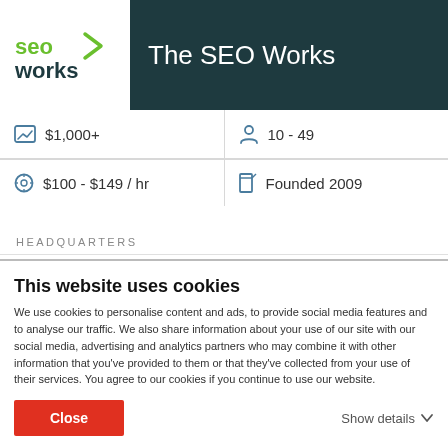[Figure (logo): SEO Works logo with green text and arrow icon on white background]
The SEO Works
| $1,000+ | 10 - 49 |
| $100 - $149 / hr | Founded 2009 |
HEADQUARTERS
Sheffield, United Kingdom
SHOW ALL +
[Figure (screenshot): Partial chart preview at bottom of company profile section]
This website uses cookies
We use cookies to personalise content and ads, to provide social media features and to analyse our traffic. We also share information about your use of our site with our social media, advertising and analytics partners who may combine it with other information that you've provided to them or that they've collected from your use of their services. You agree to our cookies if you continue to use our website.
Close
Show details